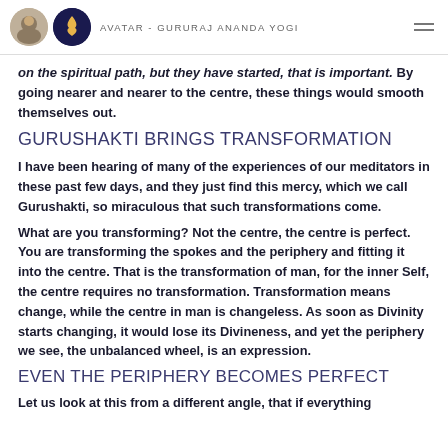AVATAR - GURURAJ ANANDA YOGI
on the spiritual path, but they have started, that is important. By going nearer and nearer to the centre, these things would smooth themselves out.
GURUSHAKTI BRINGS TRANSFORMATION
I have been hearing of many of the experiences of our meditators in these past few days, and they just find this mercy, which we call Gurushakti, so miraculous that such transformations come.
What are you transforming? Not the centre, the centre is perfect. You are transforming the spokes and the periphery and fitting it into the centre. That is the transformation of man, for the inner Self, the centre requires no transformation. Transformation means change, while the centre in man is changeless. As soon as Divinity starts changing, it would lose its Divineness, and yet the periphery we see, the unbalanced wheel, is an expression.
EVEN THE PERIPHERY BECOMES PERFECT
Let us look at this from a different angle, that if everything